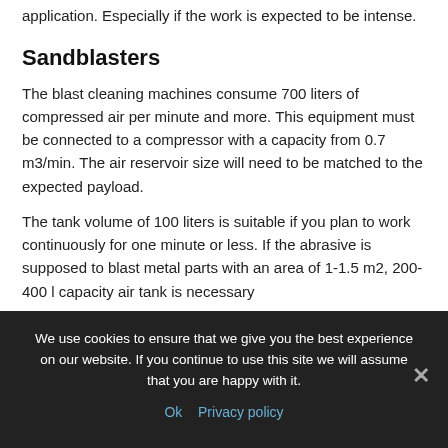application. Especially if the work is expected to be intense.
Sandblasters
The blast cleaning machines consume 700 liters of compressed air per minute and more. This equipment must be connected to a compressor with a capacity from 0.7 m3/min. The air reservoir size will need to be matched to the expected payload.
The tank volume of 100 liters is suitable if you plan to work continuously for one minute or less. If the abrasive is supposed to blast metal parts with an area of 1-1.5 m2, 200-400 l capacity air tank is necessary
We use cookies to ensure that we give you the best experience on our website. If you continue to use this site we will assume that you are happy with it.
Ok  Privacy policy